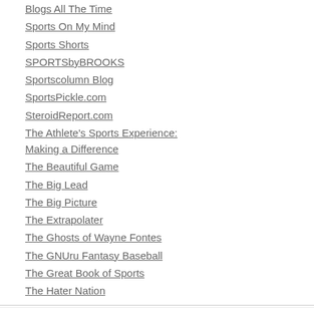Blogs All The Time
Sports On My Mind
Sports Shorts
SPORTSbyBROOKS
Sportscolumn Blog
SportsPickle.com
SteroidReport.com
The Athlete's Sports Experience: Making a Difference
The Beautiful Game
The Big Lead
The Big Picture
The Extrapolater
The Ghosts of Wayne Fontes
The GNUru Fantasy Baseball
The Great Book of Sports
The Hater Nation
Categories
BALCO (395)
Barry Bonds (67)
Baseball (9)
Congress and Steroids (46)
Cycling (256)